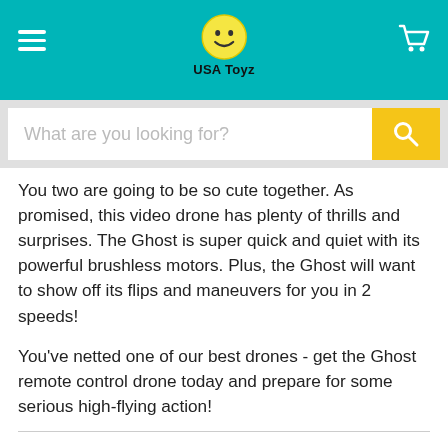USA Toyz
You two are going to be so cute together. As promised, this video drone has plenty of thrills and surprises. The Ghost is super quick and quiet with its powerful brushless motors. Plus, the Ghost will want to show off its flips and maneuvers for you in 2 speeds!
You've netted one of our best drones - get the Ghost remote control drone today and prepare for some serious high-flying action!
THE HEARTTHROB: U49WF BLUE HERON